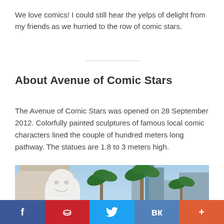We love comics! I could still hear the yelps of delight from my friends as we hurried to the row of comic stars.
About Avenue of Comic Stars
The Avenue of Comic Stars was opened on 28 September 2012. Colorfully painted sculptures of famous local comic characters lined the couple of hundred meters long pathway. The statues are 1.8 to 3 meters high.
[Figure (photo): Outdoor scene showing palm trees, a white comic character statue, a classical building on the left, and city buildings/skyscrapers in the background under a blue sky.]
f  p  tweet  VK  +